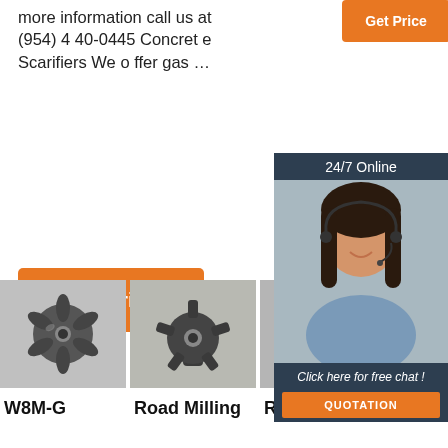more information call us at (954) 4 40-0445 Concrete Scarifiers We offer gas …
[Figure (other): Orange Get Price button (top center area)]
[Figure (other): Orange Get Price button (top right area)]
[Figure (other): Orange Get Price button (mid left)]
[Figure (photo): 24/7 Online chat agent - woman with headset, dark hair, smiling, with overlay text 'Click here for free chat!' and QUOTATION button]
[Figure (photo): W8M-G milling drum bit product photo - black metal star-shaped cutting tool]
[Figure (photo): Road Milling bit product photo - black metal multi-blade cutting tool]
[Figure (photo): Road Milling bit product photo - black metal spherical cutting tool with TOP watermark]
W8M-G
Road Milling
Road Milling